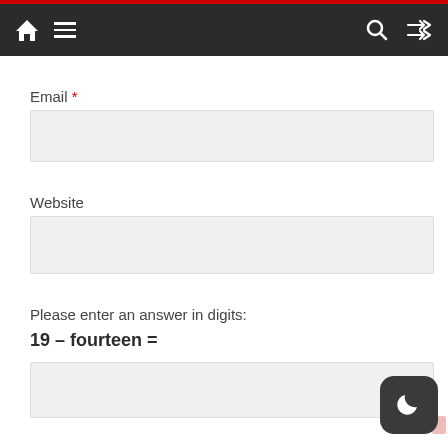Navigation bar with home, menu, search, and shuffle icons
Email *
Website
Please enter an answer in digits:
[Figure (screenshot): Dark mode toggle button (moon icon) in bottom right corner]